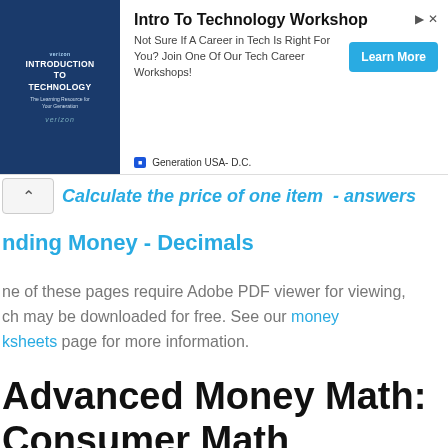[Figure (screenshot): Advertisement banner for 'Intro To Technology Workshop' by Verizon / Generation USA D.C. with a Learn More button.]
Calculate the price of one item  - answers
nding Money - Decimals
ne of these pages require Adobe PDF viewer for viewing, ch may be downloaded for free. See our money ksheets page for more information.
Advanced Money Math:
Consumer Math